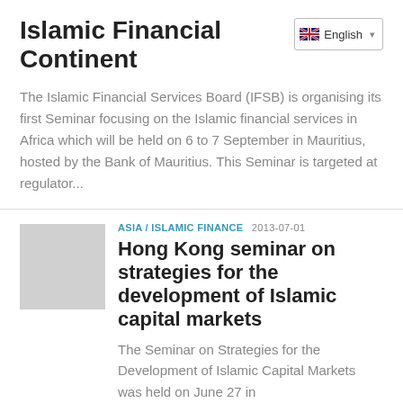Islamic Financial Continent
[Figure (screenshot): Language selector dropdown showing English with UK flag]
The Islamic Financial Services Board (IFSB) is organising its first Seminar focusing on the Islamic financial services in Africa which will be held on 6 to 7 September in Mauritius, hosted by the Bank of Mauritius. This Seminar is targeted at regulator...
ASIA / ISLAMIC FINANCE  2013-07-01
[Figure (photo): Thumbnail placeholder image in grey]
Hong Kong seminar on strategies for the development of Islamic capital markets
The Seminar on Strategies for the Development of Islamic Capital Markets was held on June 27 in